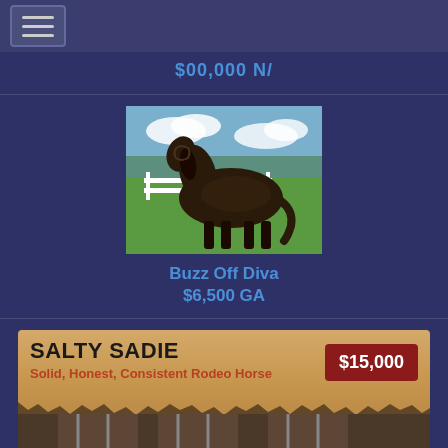[Figure (screenshot): Navigation hamburger menu button with three horizontal lines on dark blue background]
$00,000 N/
[Figure (photo): Dark brown/black horse standing in profile view on green grass with white fence in background and blue sky]
Buzz Off Diva
$6,500 GA
SALTY SADIE
Solid, Honest, Consistent Rodeo Horse
$15,000
[Figure (photo): Partial view of horse in stable/barn area, bottom portion cut off]